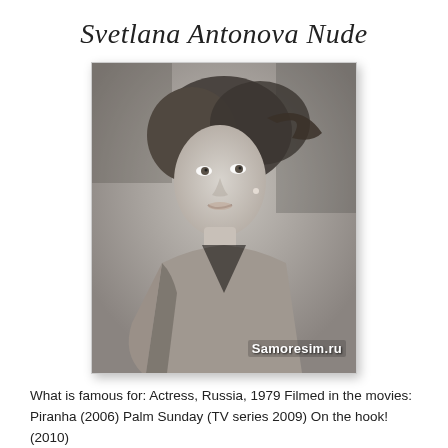Svetlana Antonova Nude
[Figure (photo): Black and white portrait photo of a woman with dark wavy hair, wearing a knit top, leaning forward slightly. Watermark reads 'Samoresim.ru' in the lower right corner.]
What is famous for: Actress, Russia, 1979 Filmed in the movies: Piranha (2006) Palm Sunday (TV series 2009) On the hook! (2010) Photos naked Svetlana Antonova Video naked Svetlana